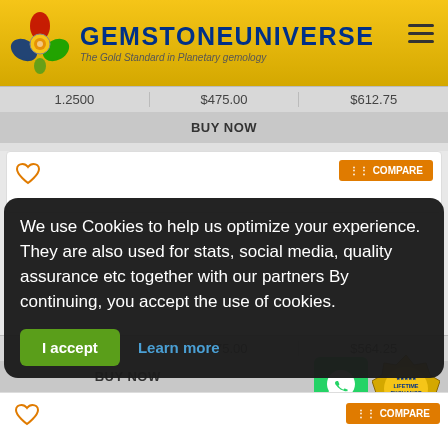GEMSTONEUNIVERSE - The Gold Standard in Planetary gemology
| 1.2500 | $475.00 | $612.75 |
| --- | --- | --- |
| BUY NOW |  |  |
[Figure (screenshot): Product card with heart icon and Compare button]
We use Cookies to help us optimize your experience. They are also used for stats, social media, quality assurance etc together with our partners By continuing, you accept the use of cookies.
I accept   Learn more
| 1.2500 | $475.00 | $564.25 |
| --- | --- | --- |
| BUY NOW |  |  |
[Figure (screenshot): Product card with heart icon and Compare button]